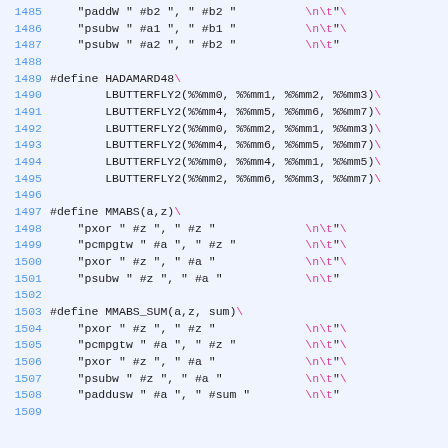Code listing lines 1485–1509, assembly macro definitions including HADAMARD48, MMABS, and MMABS_SUM